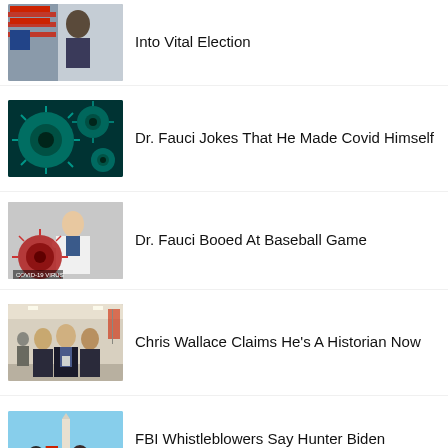[Figure (photo): Partial thumbnail showing people with American flag, election related image]
Into Vital Election
[Figure (photo): Microscopic teal/green virus cells on dark background - Covid virus image]
Dr. Fauci Jokes That He Made Covid Himself
[Figure (photo): Doctor in white coat with arms crossed, Covid-19 virus graphic in foreground]
Dr. Fauci Booed At Baseball Game
[Figure (photo): Group of men in suits walking through a hallway/corridor]
Chris Wallace Claims He's A Historian Now
[Figure (photo): People holding American flags with Washington Monument in background]
FBI Whistleblowers Say Hunter Biden Evidence Was Covered Up